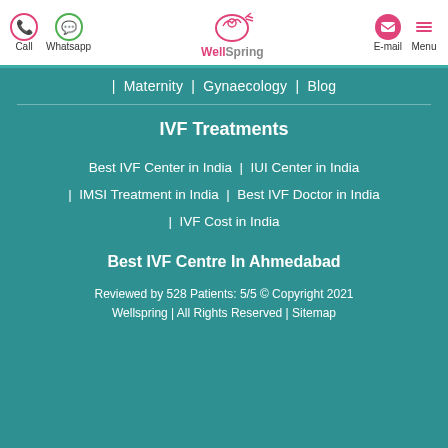Call | Whatsapp | WellSpring | E-mail | Menu
| Maternity | Gynaecology | Blog
IVF Treatments
Best IVF Center in India | IUI Center in India
| IMSI Treatment in India | Best IVF Doctor in India
| IVF Cost in India
Best IVF Centre In Ahmedabad
Reviewed by 528 Patients: 5/5 © Copyright 2021 Wellspring | All Rights Reserved | Sitemap